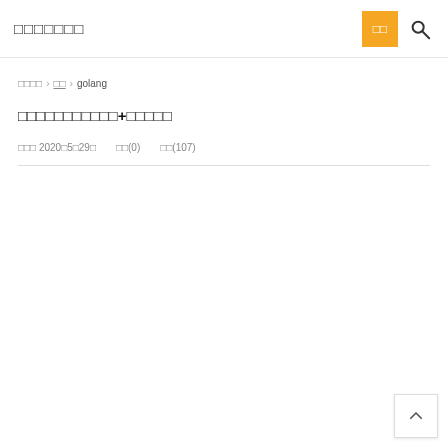□□□□□□□
□□□□ › □□ › golang
□□□□□□□□□□□+□□□□□
□□□ 2020□5□29□    □□(0)    □□(107)